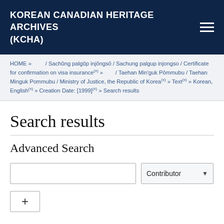KOREAN CANADIAN HERITAGE ARCHIVES (KCHA)
HOME » / Sachŭng palgŭp injŏngsŏ / Sachung palgup injongso / Certificate for confirmation on visa insurance (x) » / Taehan Min'guk Pŏmmubu / Taehan Minguk Pommubu / Ministry of Justice, the Republic of Korea (x) » Text (x) » Korean, English (x) » Creation Date: [1999] (x) » Search results
Search results
Advanced Search